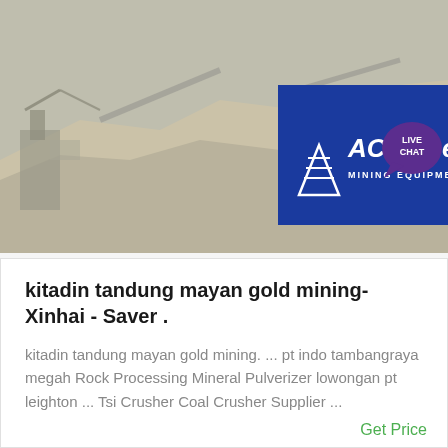[Figure (photo): Mining equipment/quarry scene banner with ACrusher Mining Equipment logo in blue box with white triangular logo icon and italic text. Live Chat bubble in purple on right side.]
kitadin tandung mayan gold mining-Xinhai - Saver .
kitadin tandung mayan gold mining. ... pt indo tambangraya megah Rock Processing Mineral Pulverizer lowongan pt leighton ... Tsi Crusher Coal Crusher Supplier ...
Get Price